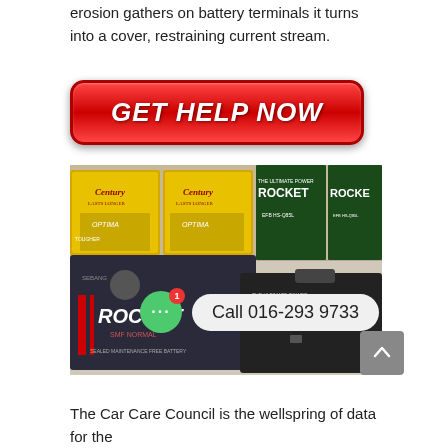erosion gathers on battery terminals it turns into a cover, restraining current stream.
[Figure (illustration): Red rounded rectangular button with white bold italic text reading GET HELP NOW]
[Figure (photo): Photo showing multiple car battery boxes including Century, Optima, and Rocket branded batteries displayed together, with two Rocket SMF batteries in front. Overlaid UI elements: green chat bubble with badge showing '1', white pill showing 'Call 016-293 9733', and grey scroll-to-top button.]
The Car Care Council is the wellspring of data for the